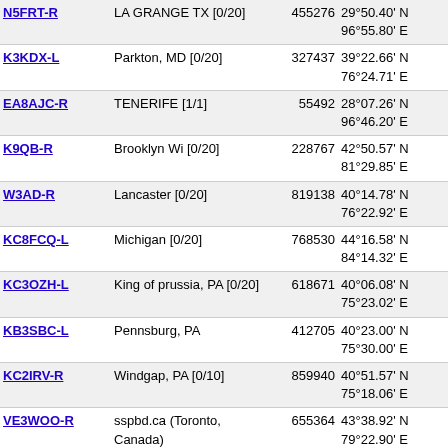| Callsign | Location | Node | Coordinates | Grid |
| --- | --- | --- | --- | --- |
| N5FRT-R | LA GRANGE TX [0/20] | 455276 | 29°50.40' N 96°55.80' E | NL89lu |
| K3KDX-L | Parkton, MD [0/20] | 327437 | 39°22.66' N 76°24.71' E | MM89ej |
| EA8AJC-R | TENERIFE [1/1] | 55492 | 28°07.26' N 96°46.20' E | NL88jc |
| K9QB-R | Brooklyn Wi [0/20] | 228767 | 42°50.57' N 81°29.85' E | NN02ru |
| W3AD-R | Lancaster [0/20] | 819138 | 40°14.78' N 76°22.92' E | MN80ef |
| KC8FCQ-L | Michigan [0/20] | 768530 | 44°16.58' N 84°14.32' E | NN24cg |
| KC3OZH-L | King of prussia, PA [0/20] | 618671 | 40°06.08' N 75°23.02' E | MN70qc |
| KB3SBC-L | Pennsburg, PA | 412705 | 40°23.00' N 75°30.00' E | MN70sj |
| KC2IRV-R | Windgap, PA [0/10] | 859940 | 40°51.57' N 75°18.06' E | MN70pu |
| VE3WOO-R | sspbd.ca (Toronto, Canada) | 655364 | 43°38.92' N 79°22.90' E | MN93qp |
| KA2NDW-R | Clyde, NY [0/20] | 375249 | 42°59.26' N 76°56.20' E | MN82lx |
| W2RJR-L | Staten Island, NY [0/5] | 279665 | 40°34.72' N 74°07.13' E | MN70bn |
| W2WCR-R | Lake George NY [0/10] | 557862 | 43°25.31' N 73°45.13' E | MN63vk |
| WA1RTB-L | Reading, MA USA [0/20] | 750375 | 42°32.11' N | MN52nm |